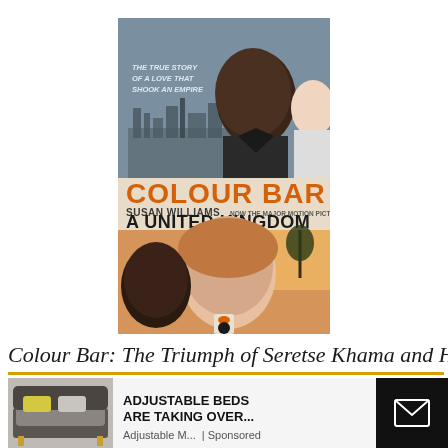[Figure (illustration): Book cover of 'Colour Bar' by Susan Williams, with subtitle 'A United Kingdom'. Top half shows a Black man in suit looking upward and a white woman smiling, with Houses of Parliament in background. Text reads 'The true story of a love that shook an empire'. Bottom half shows a movie tie-in image of a woman with reddish hair smiling and a man. Orange title 'COLOUR BAR', author 'SUSAN WILLIAMS', and 'NOW THE MAJOR MOTION PICTURE / A UNITED KINGDOM'.]
Colour Bar: The Triumph of Seretse Khama and His
[Figure (photo): Advertisement banner showing an adjustable bed with grey upholstery and yellow pillow, with text 'ADJUSTABLE BEDS ARE TAKING OVER...' and 'Adjustable M... | Sponsored', with a close button X and an email icon button on the right.]